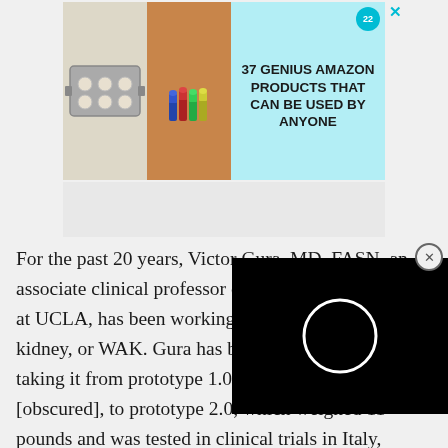[Figure (other): Advertisement banner: '37 GENIUS AMAZON PRODUCTS THAT CAN BE USED BY ANYONE' with badge showing '22', images of baking tray and makeup products on teal/cyan background]
For the past 20 years, Victor Gura, MD, FASN, an associate clinical professor of medicine at David Geffen School of Medicine at UCLA, has been working on a wearable artificial kidney, or WAK. Gura has been the lead inventor, taking it from prototype 1.0, which weighed [obscured] prototype 2.0, which weighed 11 pounds and was tested in clinical trials in Italy, London, and Seattle, to the latest version, WAK 3.0. Weighing in at just 2 pounds and powered by a rechargeable battery, WAK 3.0 was issued patent number 10,993,183 for a combination wearable and stationary
[Figure (other): Black video player overlay with a white circle/loading indicator in the center]